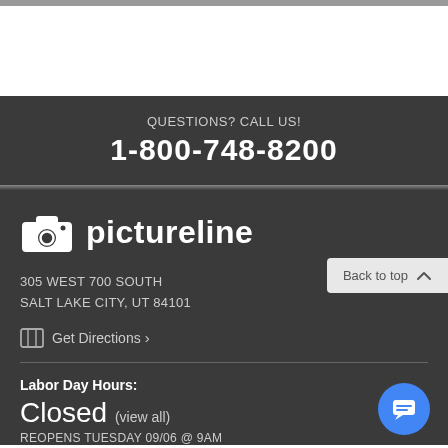QUESTIONS? CALL US!
1-800-748-8200
[Figure (logo): Pictureline camera logo and wordmark]
305 WEST 700 SOUTH
SALT LAKE CITY, UT 84101
Get Directions >
Labor Day Hours:
Closed (view all)
REOPENS TUESDAY 09/06 @ 9AM